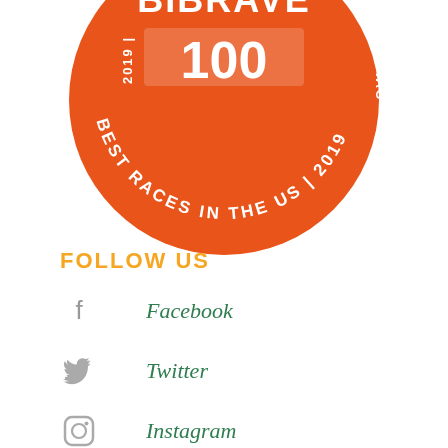[Figure (logo): BibRave 100 badge — orange circle with white text reading BIBRAVE 100 BEST RACES IN THE US 2019, partially cropped at top of page]
FOLLOW US
Facebook
Twitter
Instagram